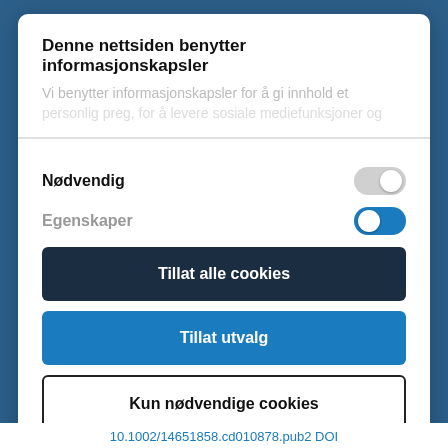Denne nettsiden benytter informasjonskapsler
Vi benytter informasjonskapsler for å gi innhold et personlig preg, for å levere sosiale mediefunksjoner og
Nødvendig
[Figure (other): Toggle switch in OFF/grey state for Nødvendig]
Egenskaper
[Figure (other): Toggle switch in ON/blue state for Egenskaper]
Tillat alle cookies
Tillat utvalg
Kun nødvendige cookies
Powered by Cookiebot by Usercentrics
10.1002/14651858.cd010878.pub2 DOI